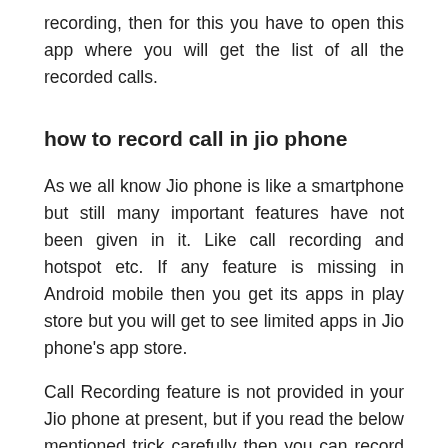recording, then for this you have to open this app where you will get the list of all the recorded calls.
how to record call in jio phone
As we all know Jio phone is like a smartphone but still many important features have not been given in it. Like call recording and hotspot etc. If any feature is missing in Android mobile then you get its apps in play store but you will get to see limited apps in Jio phone's app store.
Call Recording feature is not provided in your Jio phone at present, but if you read the below mentioned trick carefully then you can record any call of your Jio phone very easily. Whenever you want to record a call, you have